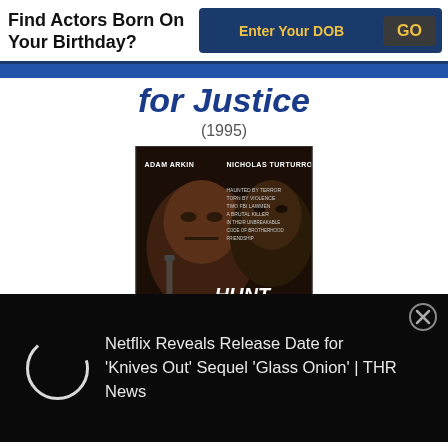Find Actors Born On Your Birthday?
Enter Your DOB
GO
for Justice
(1995)
[Figure (illustration): Movie poster for 'Hunt for Justice: In the Line of Duty' (1995) starring Adam Arkin and Nicholas Turturro. Shows two men's faces in dark tones with the title text 'HUNT FOR JUSTICE IN THE LINE OF DUTY' in bold red and white lettering.]
Netflix Reveals Release Date for 'Knives Out' Sequel 'Glass Onion' | THR News